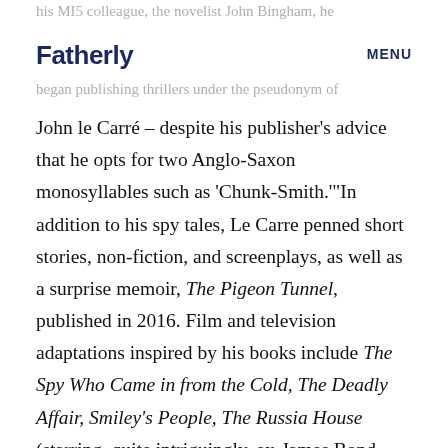Fatherly  MENU
his MI5 colleague, the novelist John Bingham, he began publishing thrillers under the pseudonym of John le Carré – despite his publisher's advice that he opts for two Anglo-Saxon monosyllables such as 'Chunk-Smith.'"In addition to his spy tales, Le Carre penned short stories, non-fiction, and screenplays, as well as a surprise memoir, The Pigeon Tunnel, published in 2016. Film and television adaptations inspired by his books include The Spy Who Came in from the Cold, The Deadly Affair, Smiley's People, The Russia House (starring, quite intriguingly, ex-James Bond actor Sean Connery), and The Constant Gardener. He also executive produced a number of films and miniseries based on his stories, including The Tailor of Panama (starring yet another former